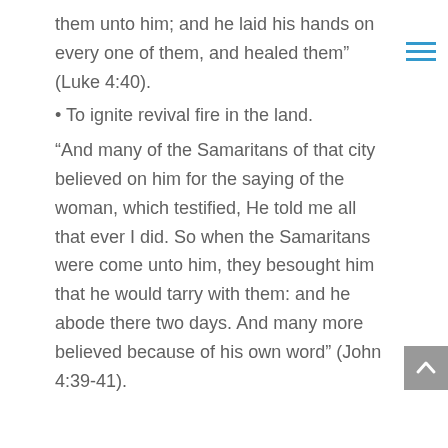them unto him; and he laid his hands on every one of them, and healed them” (Luke 4:40).
• To ignite revival fire in the land.
“And many of the Samaritans of that city believed on him for the saying of the woman, which testified, He told me all that ever I did. So when the Samaritans were come unto him, they besought him that he would tarry with them: and he abode there two days. And many more believed because of his own word” (John 4:39-41).